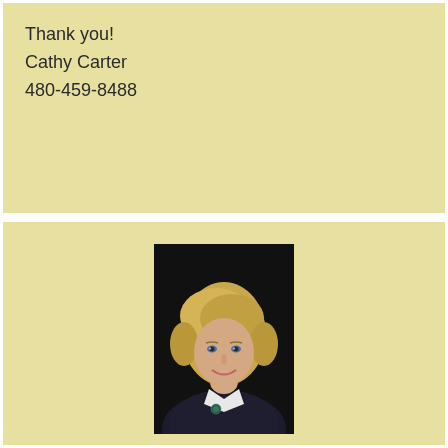Thank you!
Cathy Carter
480-459-8488
[Figure (photo): Professional headshot of Cathy Carter, a middle-aged woman with short blonde hair, wearing a dark blazer with a white collar, smiling against a black background. She has a small circular badge/logo on her lapel.]